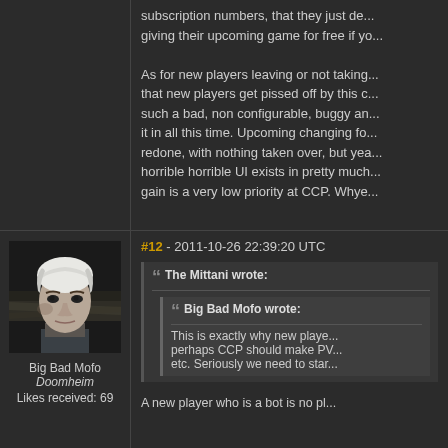subscription numbers, that they just de... giving their upcoming game for free if yo...
As for new players leaving or not taking... that new players get pissed off by this c... such a bad, non configurable, buggy an... it in all this time. Upcoming changing fo... redone, with nothing taken over, but yea... horrible horrible UI exists in pretty much... gain is a very low priority at CCP. Whye...
[Figure (photo): Avatar portrait of Big Bad Mofo character - a pale-skinned person with white/blonde hair, dark clothing, against a blurred dark background]
Big Bad Mofo
Doomheim
Likes received: 69
#12 - 2011-10-26 22:39:20 UTC
The Mittani wrote:
Big Bad Mofo wrote:
This is exactly why new playe... perhaps CCP should make PV... etc. Seriously we need to star...
A new player who is a bot is no pl...